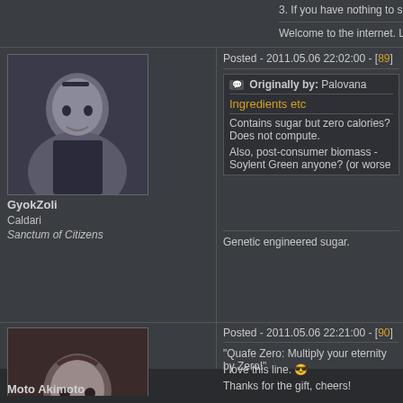3. If you have nothing to say, perhaps you should just stick to stay
Welcome to the internet. Lesson 1: Insults are made all the time, learn
Posted - 2011.05.06 22:02:00 - [89]
Originally by: Palovana
Ingredients etc
Contains sugar but zero calories? Does not compute.
Also, post-consumer biomass - Soylent Green anyone? (or worse
Genetic engineered sugar.
GyokZoli
Caldari
Sanctum of Citizens
Posted - 2011.05.06 22:21:00 - [90]
"Quafe Zero: Multiply your eternity by Zero!"
I love this line. 😎
Thanks for the gift, cheers!
Moto Akimoto